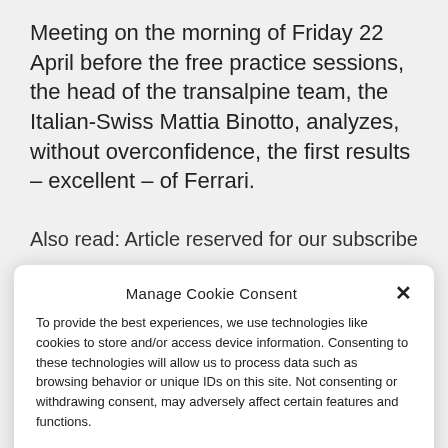Meeting on the morning of Friday 22 April before the free practice sessions, the head of the transalpine team, the Italian-Swiss Mattia Binotto, analyzes, without overconfidence, the first results – excellent – of Ferrari.
Also read: Article reserved for our subscribers
Manage Cookie Consent
To provide the best experiences, we use technologies like cookies to store and/or access device information. Consenting to these technologies will allow us to process data such as browsing behavior or unique IDs on this site. Not consenting or withdrawing consent, may adversely affect certain features and functions.
Accept
Cookie Policy